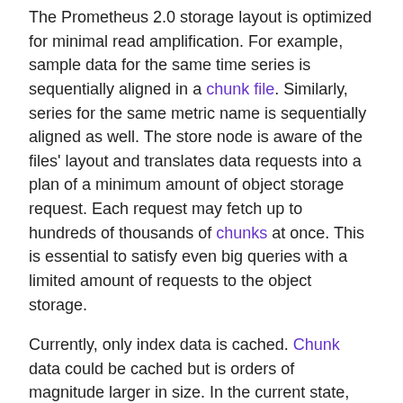The Prometheus 2.0 storage layout is optimized for minimal read amplification. For example, sample data for the same time series is sequentially aligned in a chunk file. Similarly, series for the same metric name is sequentially aligned as well. The store node is aware of the files' layout and translates data requests into a plan of a minimum amount of object storage request. Each request may fetch up to hundreds of thousands of chunks at once. This is essential to satisfy even big queries with a limited amount of requests to the object storage.
Currently, only index data is cached. Chunk data could be cached but is orders of magnitude larger in size. In the current state, fetching chunk data from the object storage already only accounts for a small fraction of end-to-end latency. Thus, there's currently no incentive to increase the store nodes resource requirements/limit its scalability by adding chunk caching.
Stores & Data Sources – It's all